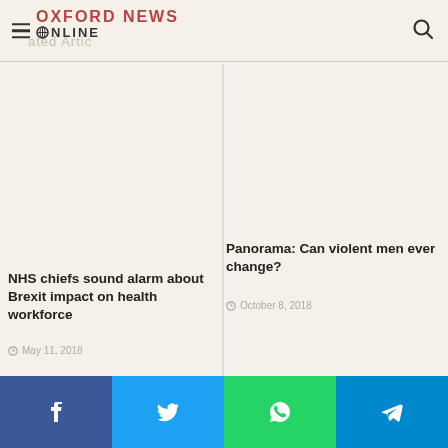Oxford News Online
Related Articles
NHS chiefs sound alarm about Brexit impact on health workforce
May 11, 2018
Panorama: Can violent men ever change?
October 8, 2018
Facebook | Twitter | WhatsApp | Telegram